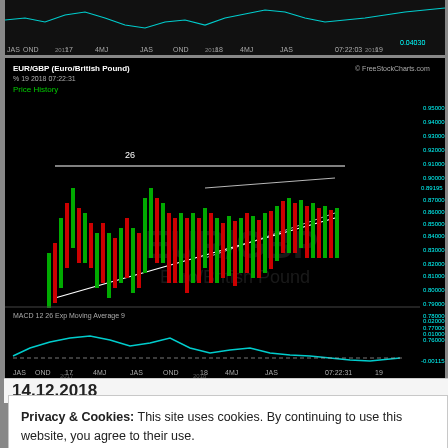[Figure (continuous-plot): Top partial EUR/GBP candlestick chart strip from FreeStockCharts.com showing price data around 2016-2019, cropped at top of page]
[Figure (continuous-plot): EUR/GBP (Euro/British Pound) candlestick chart from FreeStockCharts.com. Date range JAS 2016 to 2019. Shows price history with trendlines forming a triangle/wedge pattern. MACD 12 26 Exp Moving Average 9 indicator shown below. Y-axis ranges from approximately 0.76000 to 0.95000. Current value shown as 0.90195. MACD panel shows values from about -0.01000 to 0.02000, current -0.00115.]
14.12.2018
Privacy & Cookies: This site uses cookies. By continuing to use this website, you agree to their use.
To find out more, including how to control cookies, see here: Cookie Policy
Close and accept